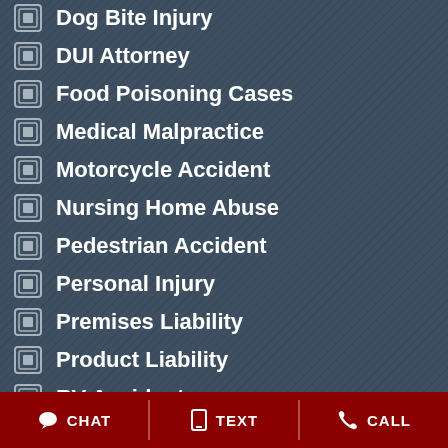Dog Bite Injury
DUI Attorney
Food Poisoning Cases
Medical Malpractice
Motorcycle Accident
Nursing Home Abuse
Pedestrian Accident
Personal Injury
Premises Liability
Product Liability
RV Accident
CHAT  TEXT  CALL